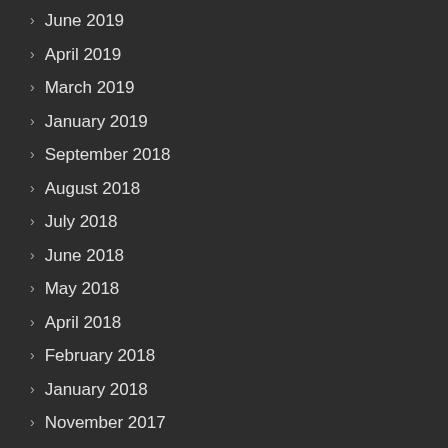June 2019
April 2019
March 2019
January 2019
September 2018
August 2018
July 2018
June 2018
May 2018
April 2018
February 2018
January 2018
November 2017